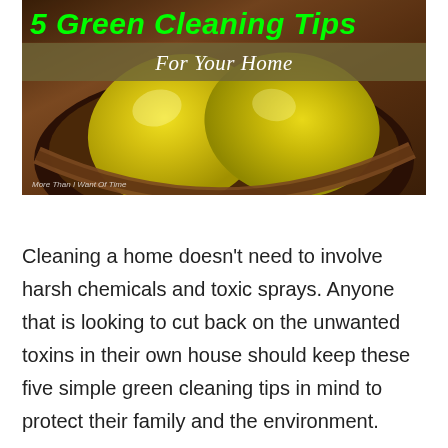[Figure (photo): Photo of lemons in a dark wooden bowl with overlaid text title '5 Green Cleaning Tips For Your Home'. The title text is in bright green italic bold font, and a subtitle banner reads 'For Your Home' in white italic serif font on a olive/tan translucent background. A small watermark text reads 'More Than I Want Of Time' at the bottom left.]
Cleaning a home doesn't need to involve harsh chemicals and toxic sprays. Anyone that is looking to cut back on the unwanted toxins in their own house should keep these five simple green cleaning tips in mind to protect their family and the environment.